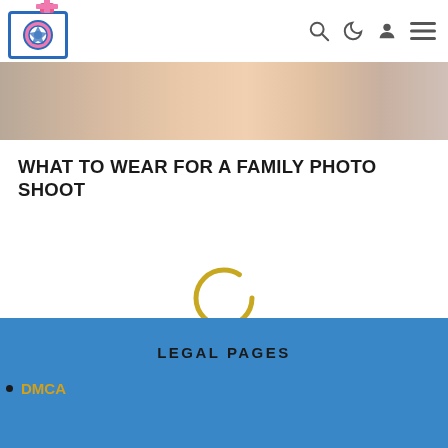Photography website header with logo and navigation icons
[Figure (photo): Hero image showing a family photo shoot scene, cropped at top]
WHAT TO WEAR FOR A FAMILY PHOTO SHOOT
[Figure (other): Loading spinner — gold/yellow circular spinner animation]
LEGAL PAGES
DMCA